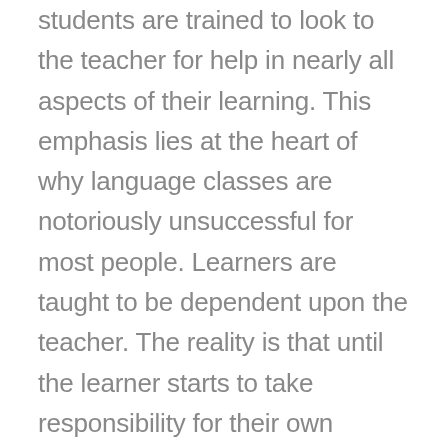students are trained to look to the teacher for help in nearly all aspects of their learning. This emphasis lies at the heart of why language classes are notoriously unsuccessful for most people. Learners are taught to be dependent upon the teacher. The reality is that until the learner starts to take responsibility for their own learning, learning that leads to enhanced skills and confidence comes slowly or not at all for most.
Out of classes, learners can only rely on themselves to adjust what they know and correct themselves. No one else will do that. If